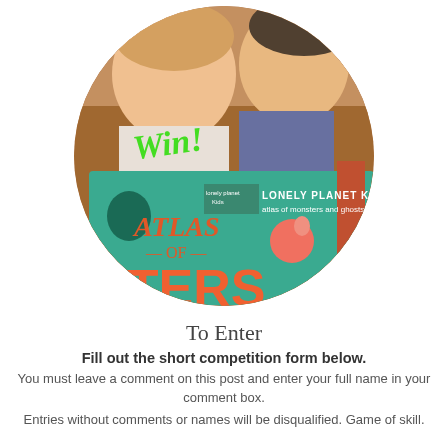[Figure (photo): Circular cropped photo of two young children looking at a Lonely Planet Kids 'Atlas of Monsters and Ghosts' book. Green cursive 'Win!' text overlaid on the image.]
To Enter
Fill out the short competition form below.
You must leave a comment on this post and enter your full name in your comment box.
Entries without comments or names will be disqualified. Game of skill.